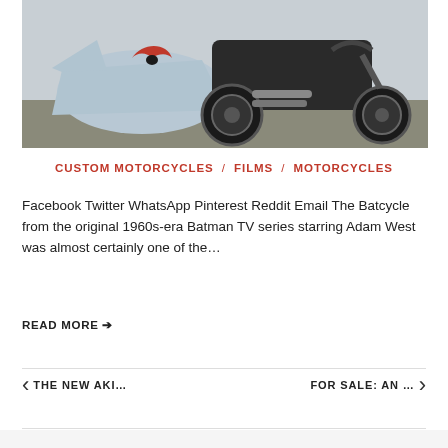[Figure (photo): Motorcycle with sidecar featuring bat logo design, parked on road surface. Light blue/gray sidecar with red bat wing graphics visible, dark motorcycle body.]
CUSTOM MOTORCYCLES / FILMS / MOTORCYCLES
Facebook Twitter WhatsApp Pinterest Reddit Email The Batcycle from the original 1960s-era Batman TV series starring Adam West was almost certainly one of the...
READ MORE ➔
THE NEW AKI...
FOR SALE: AN ...